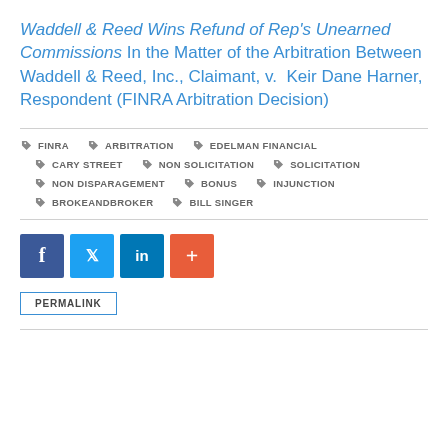Waddell & Reed Wins Refund of Rep's Unearned Commissions In the Matter of the Arbitration Between Waddell & Reed, Inc., Claimant, v. Keir Dane Harner, Respondent (FINRA Arbitration Decision)
FINRA  ARBITRATION  EDELMAN FINANCIAL  CARY STREET  NON SOLICITATION  SOLICITATION  NON DISPARAGEMENT  BONUS  INJUNCTION  BROKEANDBROKER  BILL SINGER
[Figure (other): Social sharing buttons: Facebook, Twitter, LinkedIn, More (+)]
PERMALINK